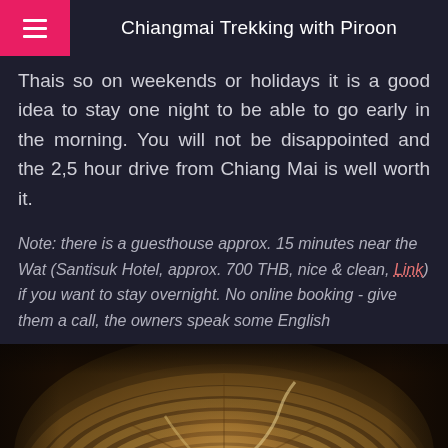Chiangmai Trekking with Piroon
Thais so on weekends or holidays it is a good idea to stay one night to be able to go early in the morning. You will not be disappointed and the 2,5 hour drive from Chiang Mai is well worth it.
Note: there is a guesthouse approx. 15 minutes near the Wat (Santisuk Hotel, approx. 700 THB, nice & clean, Link) if you want to stay overnight. No online booking - give them a call, the owners speak some English
[Figure (photo): Aerial or overhead view of ancient circular stone ruins with winding paths, golden-brown layered stonework forming a spiral or wheel pattern, photographed from above]